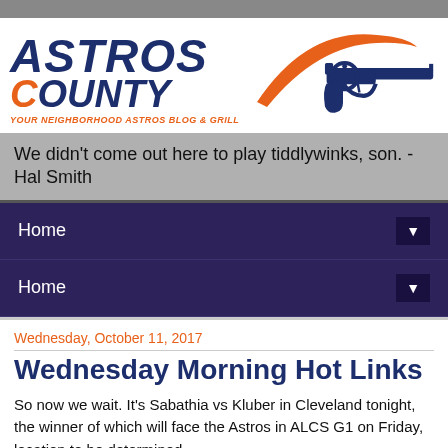[Figure (logo): Astros County logo with stylized text 'ASTROS County' in navy and orange, tagline 'YOUR NEIGHBORHOOD ASTROS BLOG & GRILL', and an illustrated revolver gun]
We didn't come out here to play tiddlywinks, son. -Hal Smith
Home
Home
Wednesday, October 11, 2017
Wednesday Morning Hot Links
So now we wait. It's Sabathia vs Kluber in Cleveland tonight, the winner of which will face the Astros in ALCS G1 on Friday, location to be determined.
*Notable updated projections from FiveThirtyEight: